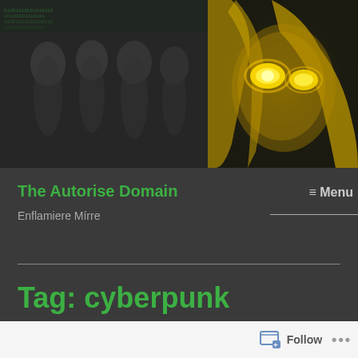[Figure (illustration): Header image split into two: left side shows blurry dark figures with green-tinted matrix-like background, right side shows an illustrated face with glowing yellow eyes and flowing golden hair on dark background]
The Autorise Domain
Enflamiere Mírre
≡ Menu
Tag: cyberpunk
Follow ...